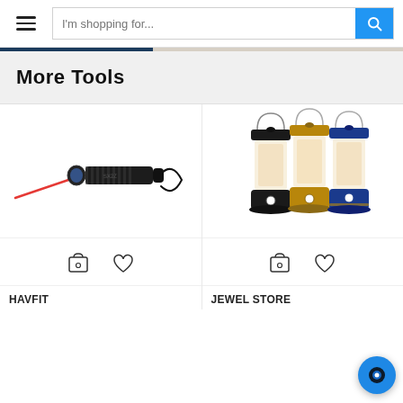I'm shopping for...
More Tools
[Figure (photo): Black tactical flashlight / laser pointer with red laser beam and wrist strap]
[Figure (photo): Three camping lanterns in black, gold and blue colors with wire handles]
HAVFIT
JEWEL STORE